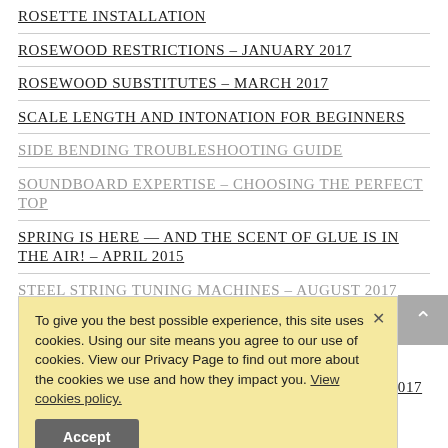ROSETTE INSTALLATION
ROSEWOOD RESTRICTIONS – JANUARY 2017
ROSEWOOD SUBSTITUTES – MARCH 2017
SCALE LENGTH AND INTONATION FOR BEGINNERS
SIDE BENDING TROUBLESHOOTING GUIDE
SOUNDBOARD EXPERTISE – CHOOSING THE PERFECT TOP
SPRING IS HERE — AND THE SCENT OF GLUE IS IN THE AIR! – APRIL 2015
STEEL STRING TUNING MACHINES – AUGUST 2017
THE … TONE – MAY 20…
THE LMI CATALOG AND BEYOND! – MARCH 2016
THE LMI TOP-SECRET WOOD VAULT! – OCTOBER 2017
To give you the best possible experience, this site uses cookies. Using our site means you agree to our use of cookies. View our Privacy Page to find out more about the cookies we use and how they impact you. View cookies policy.